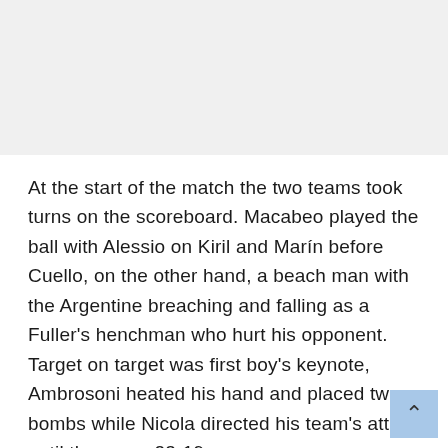At the start of the match the two teams took turns on the scoreboard. Macabeo played the ball with Alessio on Kiril and Marín before Cuello, on the other hand, a beach man with the Argentine breaching and falling as a Fuller's henchman who hurt his opponent. Target on target was first boy's keynote, Ambrosoni heated his hand and placed two bombs while Nicola directed his team's attack until they rose 23-19.
Malvin came out better, as Coelho was a character and Fausto was a true defensive stronghold, thus serving eight: 30-22. Hebraica was